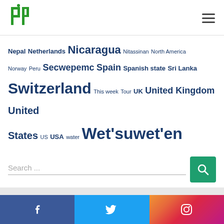[Figure (logo): PBI organization logo — green letters 'pbi' with stylized design]
Nepal Netherlands Nicaragua Nitassinan North America Norway Peru Secwepemc Spain Spanish state Sri Lanka Switzerland This week Tour UK United Kingdom United States US USA water Wet'suwet'en
Search ...
Facebook | Twitter | Instagram social media links